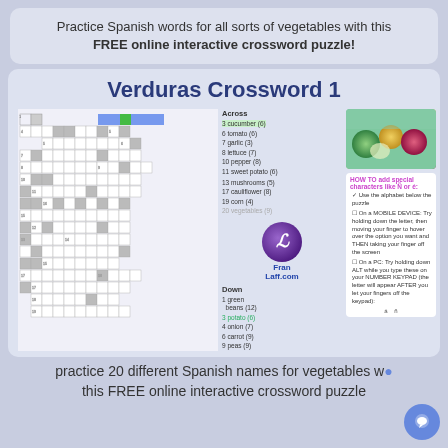Practice Spanish words for all sorts of vegetables with this FREE online interactive crossword puzzle!
Verduras Crossword 1
[Figure (other): Interactive Spanish vegetables crossword puzzle screenshot showing grid, across clues (cucumber, tomato, garlic, lettuce, pepper, sweet potato, mushrooms, cauliflower, corn, vegetables) and down clues (green beans, potato, onion, carrot, peas), a vegetables photo, HOW TO add special characters info box, and FranLaff.com branding badge]
practice 20 different Spanish names for vegetables with this FREE online interactive crossword puzzle